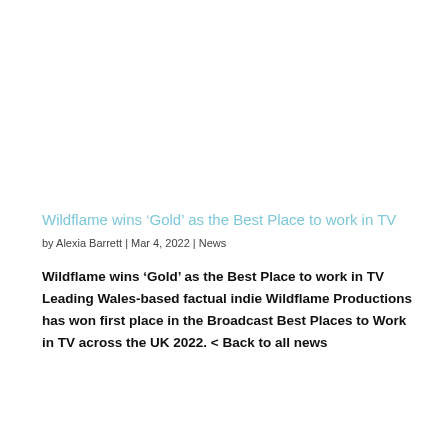Wildflame wins ‘Gold’ as the Best Place to work in TV
by Alexia Barrett | Mar 4, 2022 | News
Wildflame wins ‘Gold’ as the Best Place to work in TV Leading Wales-based factual indie Wildflame Productions has won first place in the Broadcast Best Places to Work in TV across the UK 2022.  < Back to all news